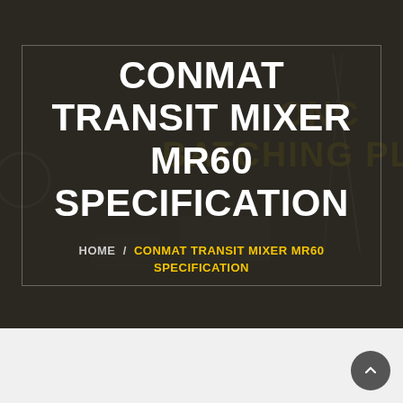CONMAT TRANSIT MIXER MR60 SPECIFICATION
HOME / CONMAT TRANSIT MIXER MR60 SPECIFICATION